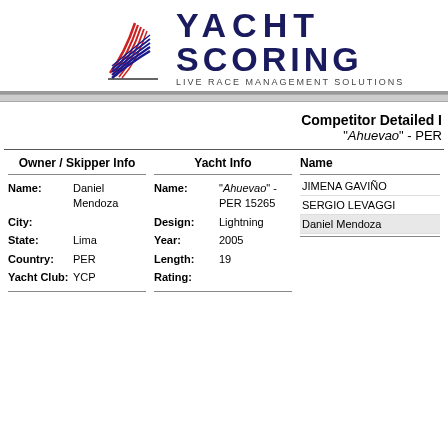[Figure (logo): YachtScoring logo with sail graphic and text YACHT SCORING LIVE RACE MANAGEMENT SOLUTIONS]
Competitor Detailed Info
"Ahuevao" - PER
| Owner / Skipper Info | Yacht Info | Name |
| --- | --- | --- |
| Name: Daniel Mendoza | Name: "Ahuevao" - PER 15265 | JIMENA GAVIÑO |
| City: | Design: Lightning | SERGIO LEVAGGI |
| State: Lima | Year: 2005 | Daniel Mendoza |
| Country: PER | Length: 19 |  |
| Yacht Club: YCP | Rating: |  |